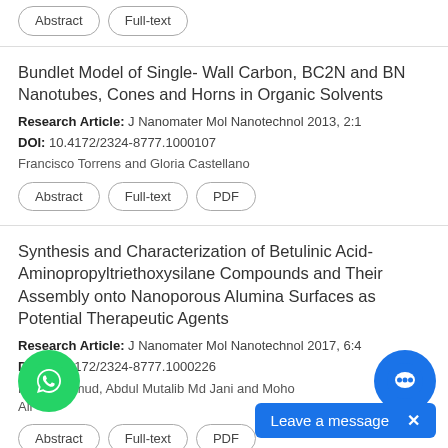Abstract | Full-text
Bundlet Model of Single- Wall Carbon, BC2N and BN Nanotubes, Cones and Horns in Organic Solvents
Research Article: J Nanomater Mol Nanotechnol 2013, 2:1
DOI: 10.4172/2324-8777.1000107
Francisco Torrens and Gloria Castellano
Abstract | Full-text | PDF
Synthesis and Characterization of Betulinic Acid-Aminopropyltriethoxysilane Compounds and Their Assembly onto Nanoporous Alumina Surfaces as Potential Therapeutic Agents
Research Article: J Nanomater Mol Nanotechnol 2017, 6:4
DOI: 10.4172/2324-8777.1000226
Hadi Mahmud, Abdul Mutalib Md Jani and Moho Ali
Abstract | Full-text | PDF